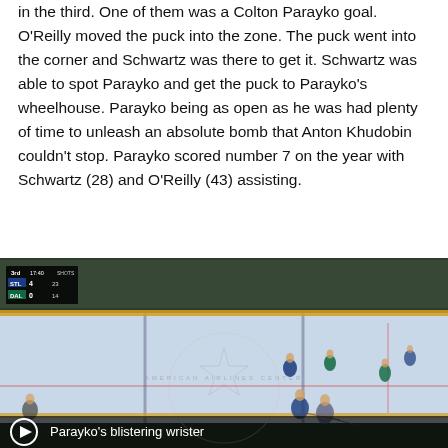in the third. One of them was a Colton Parayko goal. O'Reilly moved the puck into the zone. The puck went into the corner and Schwartz was there to get it. Schwartz was able to spot Parayko and get the puck to Parayko's wheelhouse. Parayko being as open as he was had plenty of time to unleash an absolute bomb that Anton Khudobin couldn't stop. Parayko scored number 7 on the year with Schwartz (28) and O'Reilly (43) assisting.
[Figure (screenshot): Hockey game screenshot showing STL 4, DAL 0 scoreboard in the 3rd period at 17:40. Players visible on ice at American Airlines Center with a play button overlay and caption 'Parayko's blistering wrister'.]